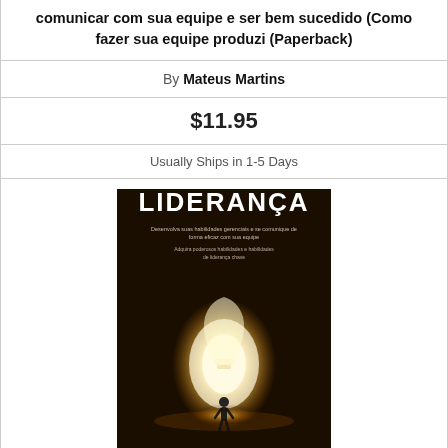comunicar com sua equipe e ser bem sucedido (Como fazer sua equipe produzi (Paperback)
By Mateus Martins
$11.95
Usually Ships in 1-5 Days
[Figure (photo): Book cover of 'Liderança' by Donald Ryan, showing a silhouette of a person standing in front of a glowing lightbulb shape on a dark background]
Liderança: Desenvolva suas habilidades gerenciais e se comunique de forma eficaz com sua equipe (Adquira poderosos habilidades e (Paperback)
By Donald Ryan